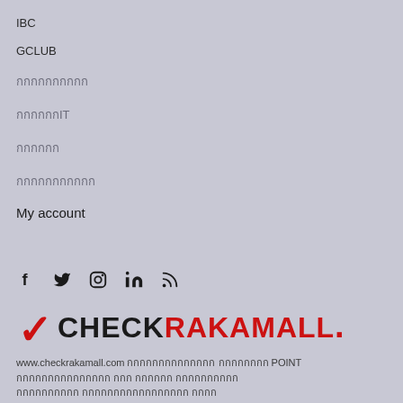IBC
GCLUB
กกกกกกกกกก
กกกกกกIT
กกกกกก
กกกกกกกกกกก
My account
[Figure (logo): Checkrakamall logo with checkmark and social media icons (Facebook, Twitter, Instagram, LinkedIn, RSS)]
www.checkrakamall.com กกกกกกกกกกกกกก กกกกกกกก POINT กกกกกกกกกกกกกกก กกก กกกกกก กกกกกกกกกก กกกกกกกกกก กกกกกกกกกกกกกกกกก กกกก